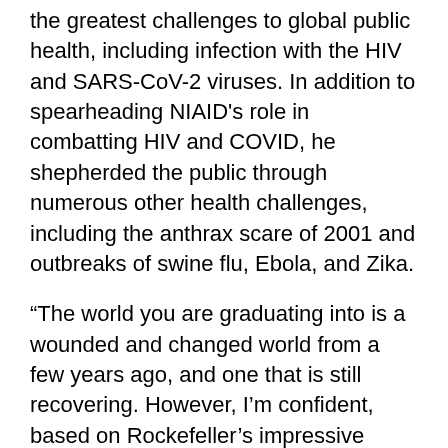the greatest challenges to global public health, including infection with the HIV and SARS-CoV-2 viruses. In addition to spearheading NIAID's role in combatting HIV and COVID, he shepherded the public through numerous other health challenges, including the anthrax scare of 2001 and outbreaks of swine flu, Ebola, and Zika.
“The world you are graduating into is a wounded and changed world from a few years ago, and one that is still recovering. However, I’m confident, based on Rockefeller’s impressive legacy of outstanding scientists, that many of you will play leadership roles in science similar to those of your Rockefeller mentors,” said Fauci.
For four decades, the research of Katalin Karikó, senior vice president at BioNTech and adjunct professor of